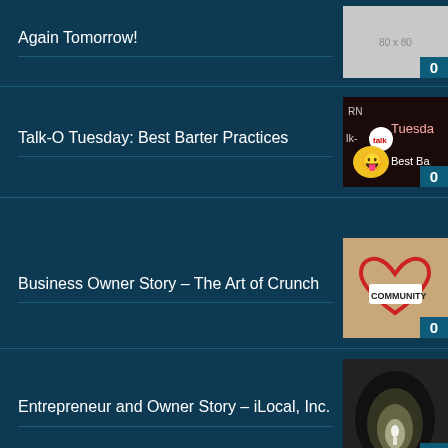Again Tomorrow!
Talk-O Tuesday: Best Barter Practices
Business Owner Story – The Art of Crunch
Entrepreneur and Owner Story – iLocal, Inc.
Contact